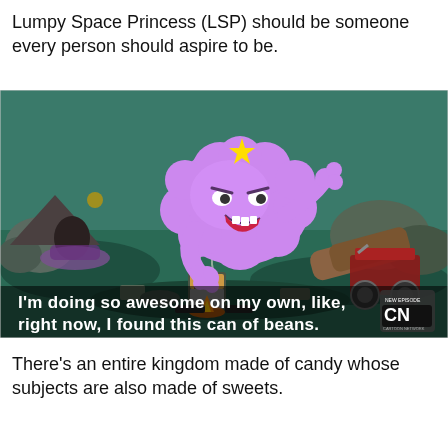Lumpy Space Princess (LSP) should be someone every person should aspire to be.
[Figure (illustration): Screenshot from Adventure Time animated show showing Lumpy Space Princess (a purple lumpy cloud character with a yellow star on her head) standing in a messy outdoor scene with a can of beans in front of her. Subtitle text reads: "I'm doing so awesome on my own, like, right now, I found this can of beans." Cartoon Network logo visible in bottom right.]
There's an entire kingdom made of candy whose subjects are also made of sweets.